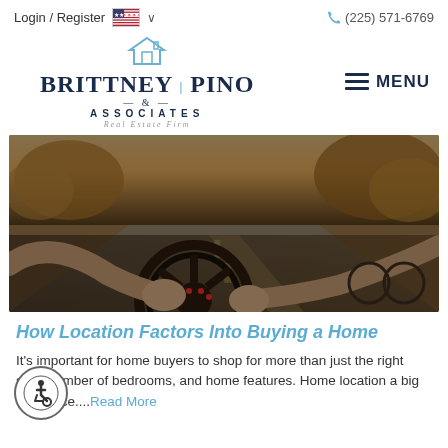Login / Register  🇺🇸 ∨    📞 (225) 571-6769
[Figure (logo): Brittney Pino & Associates Real Estate Firm logo with house icon]
≡ MENU
[Figure (photo): Person driving a car, view from behind showing hands on steering wheel with road ahead]
How Location Factors Into Buying a Home
It's important for home buyers to shop for more than just the right size, number of bedrooms, and home features. Home location a big difference....Read More